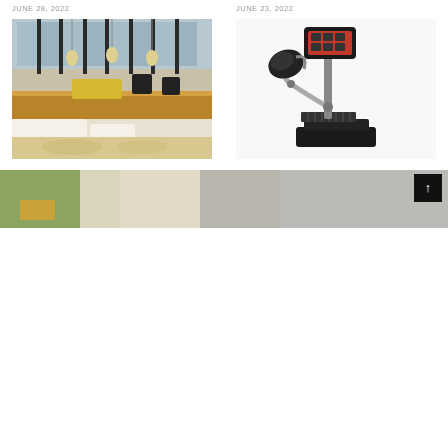JUNE 28, 2022
JUNE 23, 2022
[Figure (photo): Interior of a modern coffee shop with wooden bar counter, espresso machines, pendant lights, and large glass windows]
[Figure (photo): Automatic milk frother machine on a black stand with digital display screen and articulating arm]
Accademia Del Caffè Espresso Organizes Open Days On The Occasion Of World of Coffee
The Ultimate Automatic Milk Frother For Coffee Shops Is Finally Here
JUNE 22, 2022
JUNE 13, 2022
[Figure (photo): Bottom portion of a partially visible image showing blurred background with coffee-related imagery]